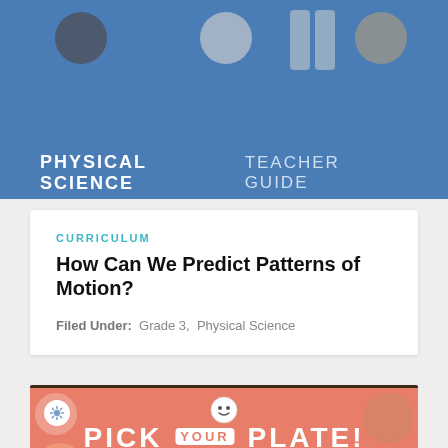[Figure (illustration): Blue banner with food/kitchen items silhouettes at top, showing 'PHYSICAL SCIENCE' in bold white and 'TEACHER GUIDE' in lighter text]
CURRICULUM
How Can We Predict Patterns of Motion?
Filed Under:  Grade 3,  Physical Science
[Figure (screenshot): Pick Your Plate! A Global Guide to Nutrition game splash screen on salmon/orange background with food illustrations. Shows buttons: 'new game', 'continue', 'credits']